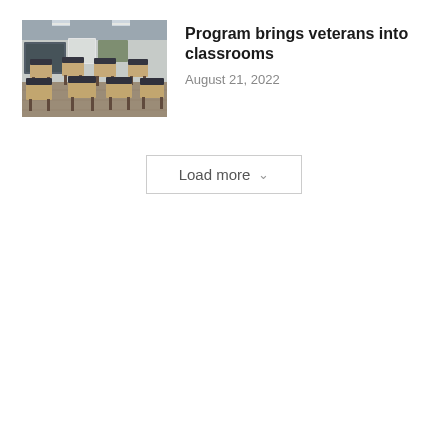[Figure (photo): Classroom with rows of empty wooden desks and chairs, a chalkboard and map visible at the front, overhead lighting.]
Program brings veterans into classrooms
August 21, 2022
Load more